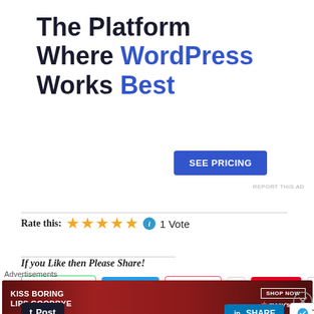The Platform Where WordPress Works Best
SEE PRICING
REPORT THIS AD
Rate this: ★★★★★ ℹ 1 Vote
If you Like then Please Share!
WhatsApp  Tweet  Pocket 1  Save 89
Post  SHARE  Telegram
Advertisements
[Figure (photo): Advertisement banner: KISS BORING LIPS GOODBYE with SHOP NOW and Macy's branding on red background]